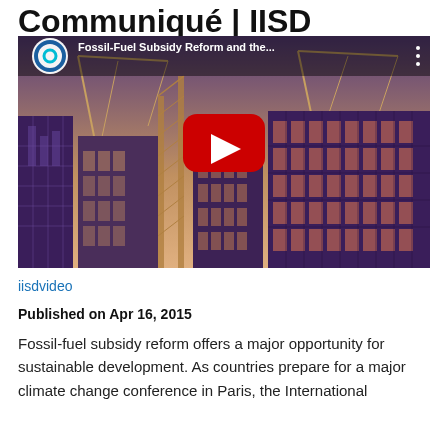Communiqué | IISD
[Figure (screenshot): YouTube video thumbnail showing an animated cityscape with cranes and industrial structures in purple and orange tones. The video title reads 'Fossil-Fuel Subsidy Reform and the...' with the YouTube play button in the center and the IISD circular logo in the top left corner.]
iisdvideo
Published on Apr 16, 2015
Fossil-fuel subsidy reform offers a major opportunity for sustainable development. As countries prepare for a major climate change conference in Paris, the International